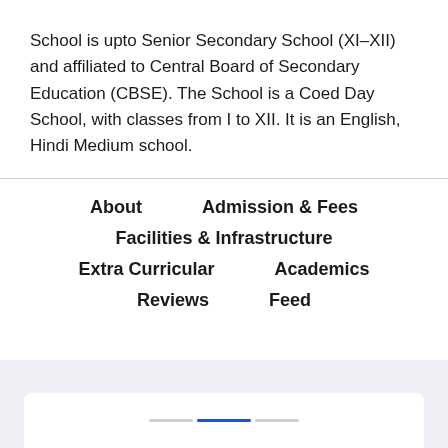School is upto Senior Secondary School (XI–XII) and affiliated to Central Board of Secondary Education (CBSE). The School is a Coed Day School, with classes from I to XII. It is an English, Hindi Medium school.
About
Admission & Fees
Facilities & Infrastructure
Extra Curricular
Academics
Reviews
Feed